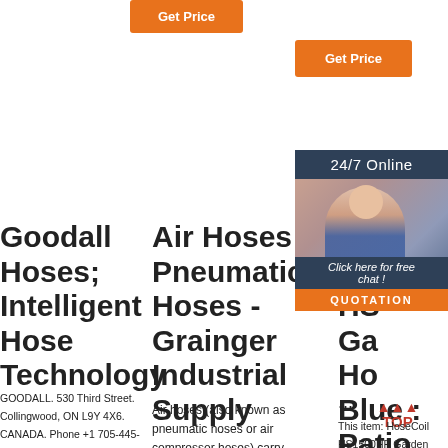[Figure (screenshot): Orange 'Get Price' button at top center]
[Figure (screenshot): Orange 'Get Price' button at top right]
[Figure (screenshot): 24/7 Online chat widget with woman in headset, 'Click here for free chat!' text, and orange QUOTATION button]
Goodall Hoses; Intelligent Hose Technology
GOODALL. 530 Third Street. Collingwood, ON L9Y 4X6. CANADA. Phone +1 705-445-1551. Fax +1
Air Hoses - Pneumatic Hoses - Grainger Industrial Supply
Air hoses (also known as pneumatic hoses or air compressor hoses) carry compressed air
Ar : H HS Ga Ho Blue : Patio
...
This item: HoseCoil HS1500HP Garden Hose Blue M